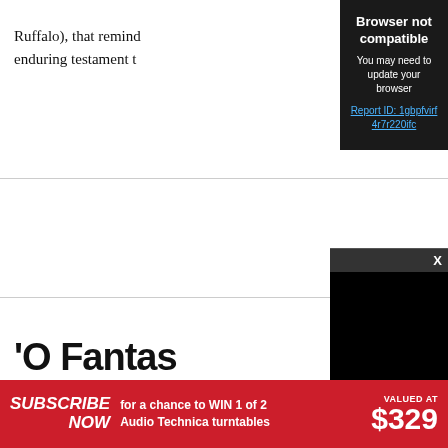Ruffalo), that remind… enduring testament t…
[Figure (screenshot): Browser not compatible overlay with dark background. Title: 'Browser not compatible'. Subtitle: 'You may need to update your browser'. Link: 'Report ID: 1gbpfvirf4r7r220ifc']
'O Fantas…
[Figure (screenshot): Dark media player overlay with close button (X) and black video area]
[Figure (photo): Article image placeholder, light gray]
SUBSCRIBE NOW for a chance to WIN 1 of 2 Audio Technica turntables VALUED AT $329